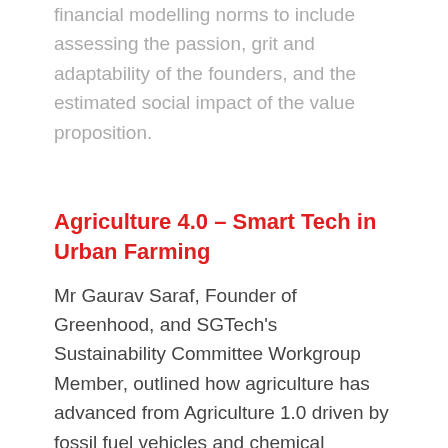financial modelling norms to include assessing the passion, grit and adaptability of the founders, and the estimated social impact of the value proposition.
Agriculture 4.0 – Smart Tech in Urban Farming
Mr Gaurav Saraf, Founder of Greenhood, and SGTech's Sustainability Committee Workgroup Member, outlined how agriculture has advanced from Agriculture 1.0 driven by fossil fuel vehicles and chemical pesticides to today's Agriculture